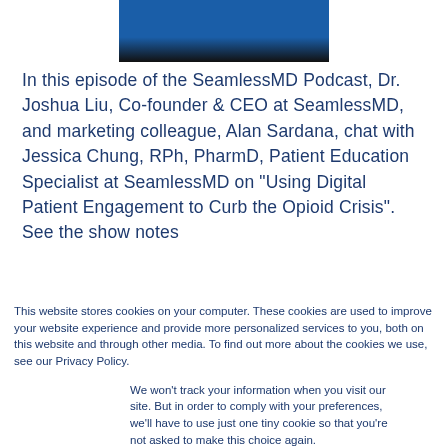[Figure (photo): Partial podcast episode image with blue and dark banner at the top]
In this episode of the SeamlessMD Podcast, Dr. Joshua Liu, Co-founder & CEO at SeamlessMD, and marketing colleague, Alan Sardana, chat with Jessica Chung, RPh, PharmD, Patient Education Specialist at SeamlessMD on "Using Digital Patient Engagement to Curb the Opioid Crisis". See the show notes
This website stores cookies on your computer. These cookies are used to improve your website experience and provide more personalized services to you, both on this website and through other media. To find out more about the cookies we use, see our Privacy Policy.
We won't track your information when you visit our site. But in order to comply with your preferences, we'll have to use just one tiny cookie so that you're not asked to make this choice again.